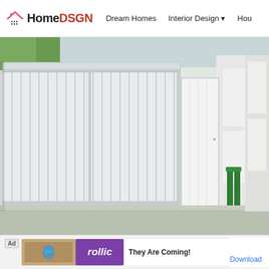HomeDSGN — Dream Homes | Interior Design | Hou...
[Figure (photo): Exterior of a modern home showing a large white metal slatted sliding gate with number 17 on a dark panel, white walls, and green bollards, photographed in bright daylight.]
[Figure (other): Advertisement banner: Ad label, left image of game on wood surface, Rollic purple logo, 'They Are Coming!' text, Download button in blue.]